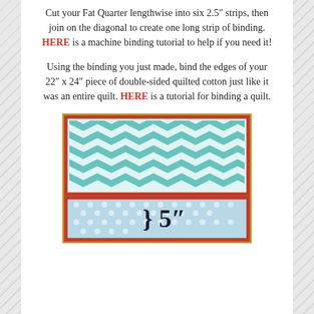Cut your Fat Quarter lengthwise into six 2.5" strips, then join on the diagonal to create one long strip of binding. HERE is a machine binding tutorial to help if you need it!
Using the binding you just made, bind the edges of your 22" x 24" piece of double-sided quilted cotton just like it was an entire quilt. HERE is a tutorial for binding a quilt.
[Figure (photo): Photo of a quilted placemat with aqua/teal chevron pattern and red binding. A bottom section shows a blue polka dot fabric with a curly brace and '5"' label indicating measurement.]